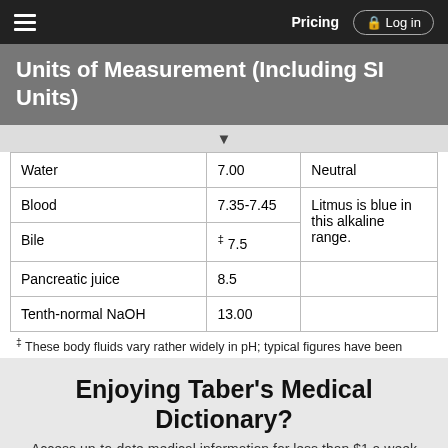Pricing  Log in
Units of Measurement (Including SI Units)
|  |  |  |
| --- | --- | --- |
| Water | 7.00 | Neutral |
| Blood | 7.35-7.45 | Litmus is blue in this alkaline range. |
| Bile | ‡ 7.5 |  |
| Pancreatic juice | 8.5 |  |
| Tenth-normal NaOH | 13.00 |  |
‡ These body fluids vary rather widely in pH; typical figures have been
Enjoying Taber's Medical Dictionary?
Access up-to-date medical information for less than $1 a week
Purchase a subscription
I'm already a subscriber